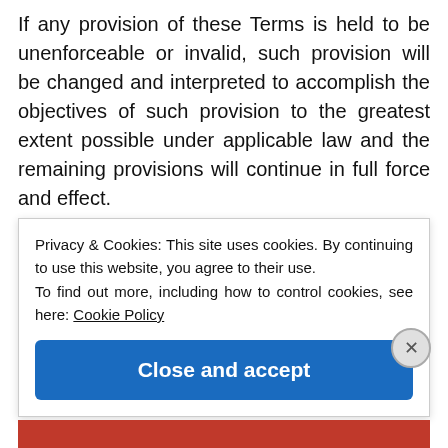If any provision of these Terms is held to be unenforceable or invalid, such provision will be changed and interpreted to accomplish the objectives of such provision to the greatest extent possible under applicable law and the remaining provisions will continue in full force and effect.
Privacy & Cookies: This site uses cookies. By continuing to use this website, you agree to their use.
To find out more, including how to control cookies, see here: Cookie Policy
Close and accept